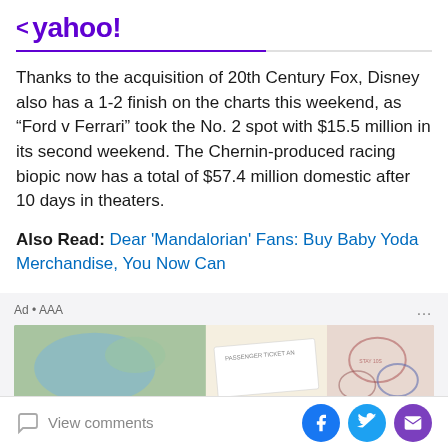< yahoo!
Thanks to the acquisition of 20th Century Fox, Disney also has a 1-2 finish on the charts this weekend, as “Ford v Ferrari” took the No. 2 spot with $15.5 million in its second weekend. The Chernin-produced racing biopic now has a total of $57.4 million domestic after 10 days in theaters.
Also Read: Dear 'Mandalorian' Fans: Buy Baby Yoda Merchandise, You Now Can
[Figure (screenshot): Advertisement banner image showing a passport, travel tickets, and a world map. Label reads 'Ad • AAA']
View comments